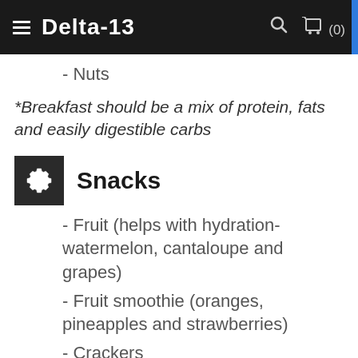Delta-13
- Nuts
*Breakfast should be a mix of protein, fats and easily digestible carbs
Snacks
- Fruit (helps with hydration- watermelon, cantaloupe and grapes)
- Fruit smoothie (oranges, pineapples and strawberries)
- Crackers
- Pretzels
- Saltine crackers
- Low-fat greek yogurt